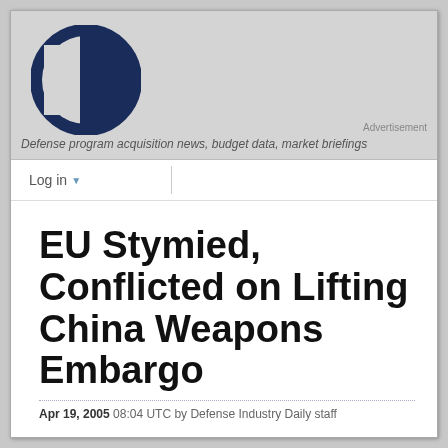[Figure (logo): Defense Industry Daily logo — dark navy blue circle with vertical bar inside, creating a stylized 'D' shape]
Advertisement
Defense program acquisition news, budget data, market briefings
Log in ▾
EU Stymied, Conflicted on Lifting China Weapons Embargo
Apr 19, 2005 08:04 UTC by Defense Industry Daily staff